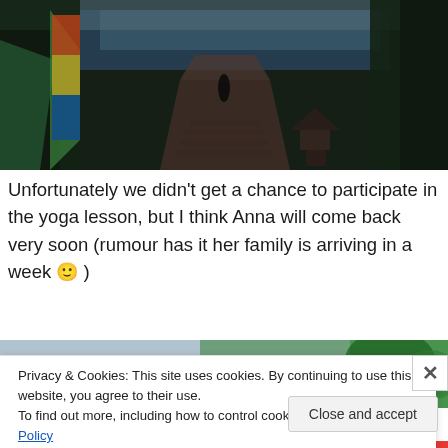[Figure (photo): Outdoor photo showing a wooden boardwalk path leading down toward a beach through tropical vegetation. A colorful flag or hammock is visible on the left, palm trees surround the path, and water is visible in the background.]
Unfortunately we didn't get a chance to participate in the yoga lesson, but I think Anna will come back very soon (rumour has it her family is arriving in a week 🙂 )
[Figure (photo): Partial view of a second photo showing tropical scenery, partially obscured by a cookie consent overlay.]
Privacy & Cookies: This site uses cookies. By continuing to use this website, you agree to their use.
To find out more, including how to control cookies, see here: Cookie Policy
Close and accept